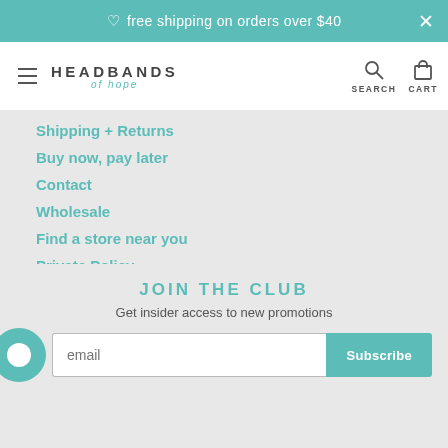♡ free shipping on orders over $40
[Figure (screenshot): Headbands of Hope website navigation bar with hamburger menu, logo, search and cart icons]
Shipping + Returns
Buy now, pay later
Contact
Wholesale
Find a store near you
Private Policy
Store Sitemap
Terms of Service
JOIN THE CLUB
Get insider access to new promotions